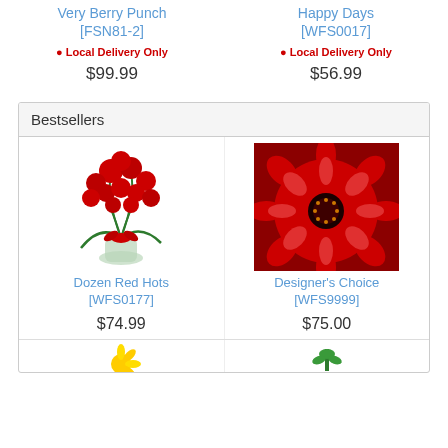Very Berry Punch [FSN81-2]
● Local Delivery Only
$99.99
Happy Days [WFS0017]
● Local Delivery Only
$56.99
Bestsellers
[Figure (photo): Bouquet of dozen red roses with baby's breath and red ribbon in a glass vase]
Dozen Red Hots [WFS0177]
$74.99
[Figure (photo): Close-up of bright red gerbera daisies and roses]
Designer's Choice [WFS9999]
$75.00